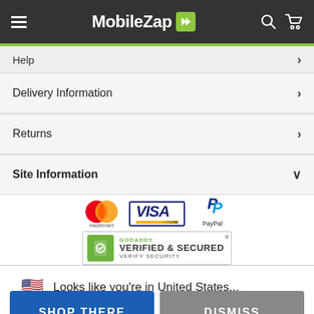[Figure (logo): MobileZap logo with hamburger menu, search and cart icons on dark header]
Help
Delivery Information
Returns
Site Information
[Figure (logo): Payment logos: Mastercard, Visa, PayPal]
[Figure (logo): GoDaddy Verified & Secured badge]
Looks like you're in United States...
SHOP THERE
DISMISS